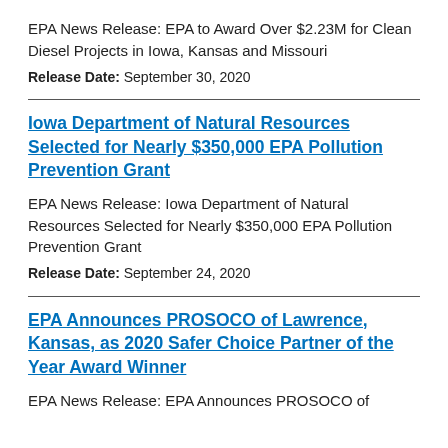EPA News Release: EPA to Award Over $2.23M for Clean Diesel Projects in Iowa, Kansas and Missouri
Release Date: September 30, 2020
Iowa Department of Natural Resources Selected for Nearly $350,000 EPA Pollution Prevention Grant
EPA News Release: Iowa Department of Natural Resources Selected for Nearly $350,000 EPA Pollution Prevention Grant
Release Date: September 24, 2020
EPA Announces PROSOCO of Lawrence, Kansas, as 2020 Safer Choice Partner of the Year Award Winner
EPA News Release: EPA Announces PROSOCO of